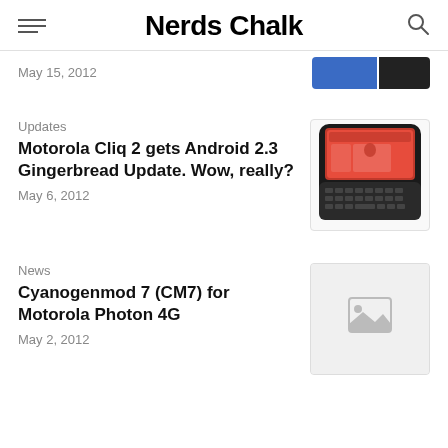Nerds Chalk
May 15, 2012
Updates
Motorola Cliq 2 gets Android 2.3 Gingerbread Update. Wow, really?
May 6, 2012
[Figure (photo): Motorola Cliq 2 smartphone with physical keyboard]
News
Cyanogenmod 7 (CM7) for Motorola Photon 4G
May 2, 2012
[Figure (photo): Placeholder image thumbnail]